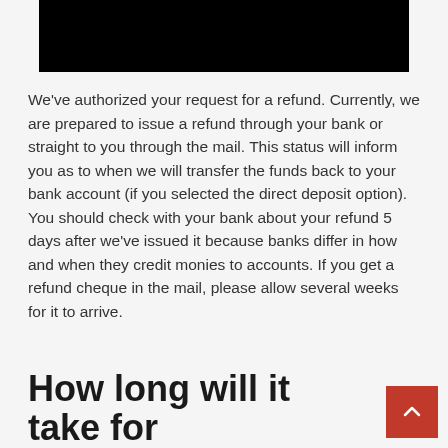[Figure (other): Black rectangular banner image at the top of the page]
We've authorized your request for a refund. Currently, we are prepared to issue a refund through your bank or straight to you through the mail. This status will inform you as to when we will transfer the funds back to your bank account (if you selected the direct deposit option). You should check with your bank about your refund 5 days after we've issued it because banks differ in how and when they credit monies to accounts. If you get a refund cheque in the mail, please allow several weeks for it to arrive.
How long will it take for